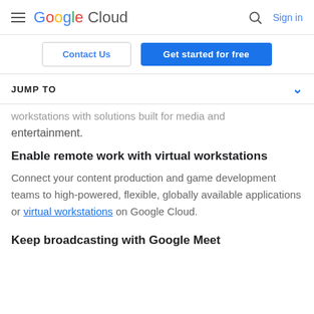Google Cloud — Search, Sign in
Contact Us | Get started for free
JUMP TO
…workstations with solutions built for media and entertainment.
Enable remote work with virtual workstations
Connect your content production and game development teams to high-powered, flexible, globally available applications or virtual workstations on Google Cloud.
Keep broadcasting with Google Meet